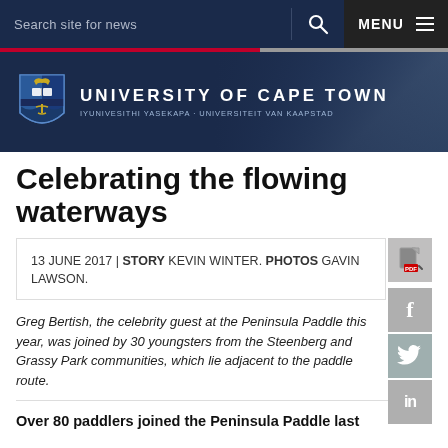Search site for news  MENU
[Figure (logo): University of Cape Town logo with shield and text: UNIVERSITY OF CAPE TOWN, IYUNIVESITHI YASEKAPA • UNIVERSITEIT VAN KAAPSTAD]
Celebrating the flowing waterways
13 JUNE 2017 | STORY KEVIN WINTER. PHOTOS GAVIN LAWSON.
Greg Bertish, the celebrity guest at the Peninsula Paddle this year, was joined by 30 youngsters from the Steenberg and Grassy Park communities, which lie adjacent to the paddle route.
Over 80 paddlers joined the Peninsula Paddle last